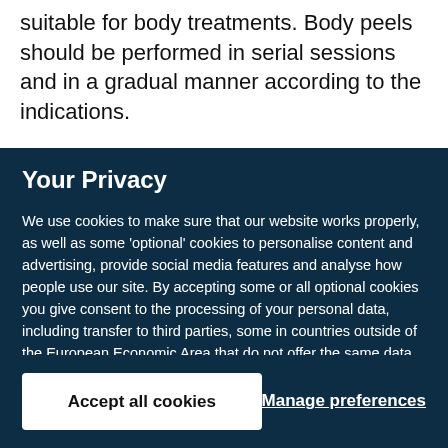suitable for body treatments. Body peels should be performed in serial sessions and in a gradual manner according to the indications.
Your Privacy
We use cookies to make sure that our website works properly, as well as some 'optional' cookies to personalise content and advertising, provide social media features and analyse how people use our site. By accepting some or all optional cookies you give consent to the processing of your personal data, including transfer to third parties, some in countries outside of the European Economic Area that do not offer the same data protection standards as the country where you live. You can decide which optional cookies to accept by clicking on 'Manage Settings', where you can also find more information about how your personal data is processed. Further information can be found in our privacy policy.
Accept all cookies
Manage preferences